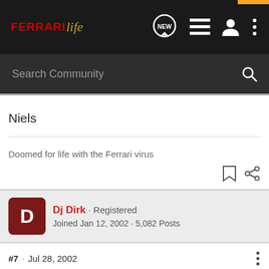FERRARI life — navigation bar with NEW, list, user, and menu icons
Search Community
Niels
Doomed for life with the Ferrari virus
Dj Dirk · Registered
Joined Jan 12, 2002 · 5,082 Posts
#7 · Jul 28, 2002